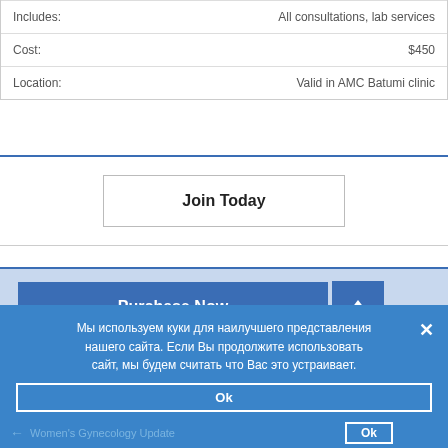| Includes: | All consultations, lab services |
| Cost: | $450 |
| Location: | Valid in AMC Batumi clinic |
Join Today
Purchase Now
Мы используем куки для наилучшего представления нашего сайта. Если Вы продолжите использовать сайт, мы будем считать что Вас это устраивает.
Ok
Women's Gynecology Update